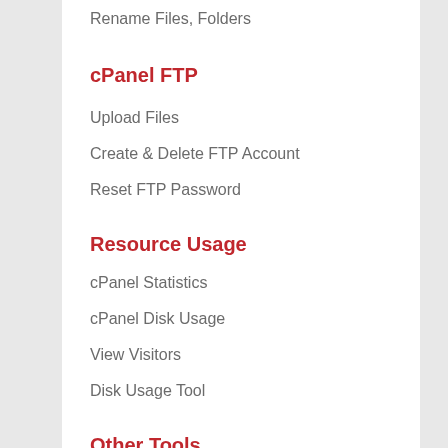Rename Files, Folders
cPanel FTP
Upload Files
Create & Delete FTP Account
Reset FTP Password
Resource Usage
cPanel Statistics
cPanel Disk Usage
View Visitors
Disk Usage Tool
Other Tools